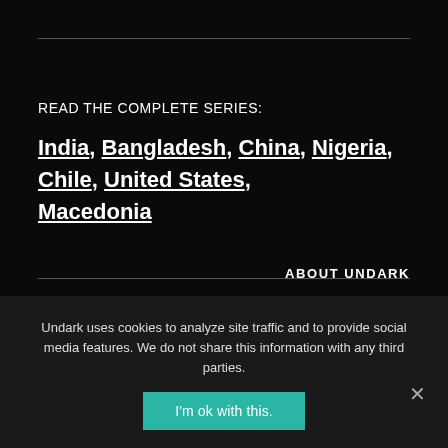READ THE COMPLETE SERIES:
India, Bangladesh, China, Nigeria, Chile, United States, Macedonia
ABOUT UNDARK
Truth
Undark uses cookies to analyze site traffic and to provide social media features. We do not share this information with any third parties.
I'm ok with this.